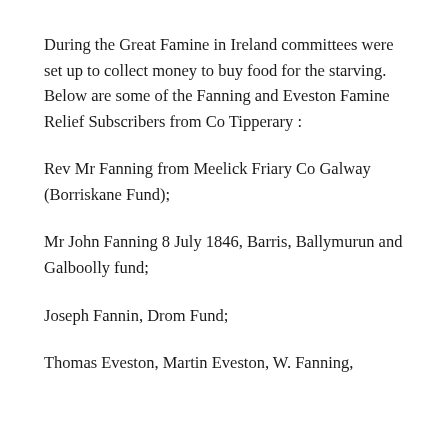During the Great Famine in Ireland committees were set up to collect money to buy food for the starving. Below are some of the Fanning and Eveston Famine Relief Subscribers from Co Tipperary :
Rev Mr Fanning from Meelick Friary Co Galway (Borriskane Fund);
Mr John Fanning 8 July 1846, Barris, Ballymurun and Galboolly fund;
Joseph Fannin, Drom Fund;
Thomas Eveston, Martin Eveston, W. Fanning,